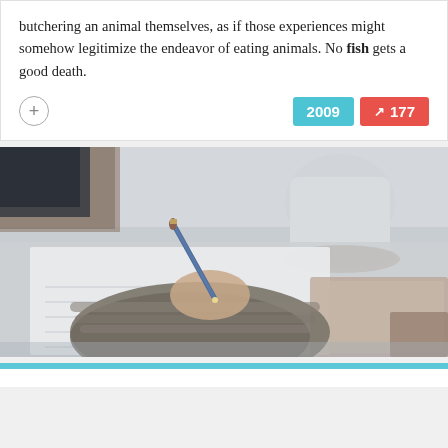butchering an animal themselves, as if those experiences might somehow legitimize the endeavor of eating animals. No fish gets a good death.
[Figure (photo): Photo of a person's hand holding a blue pencil, writing on paper at a desk. A white mug on a coaster is visible in the background, along with what appears to be a notebook or clipboard.]